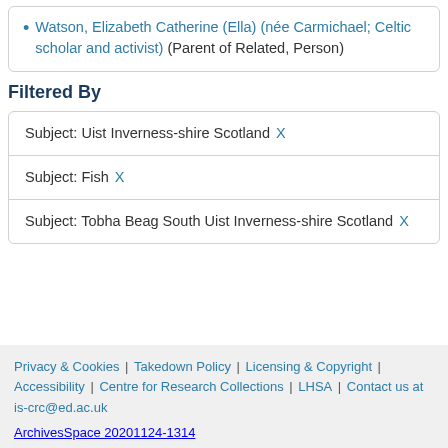Watson, Elizabeth Catherine (Ella) (née Carmichael; Celtic scholar and activist) (Parent of Related, Person)
Filtered By
| Subject: Uist Inverness-shire Scotland X |
| Subject: Fish X |
| Subject: Tobha Beag South Uist Inverness-shire Scotland X |
Privacy & Cookies | Takedown Policy | Licensing & Copyright | Accessibility | Centre for Research Collections | LHSA | Contact us at is-crc@ed.ac.uk
ArchivesSpace 20201124-1314